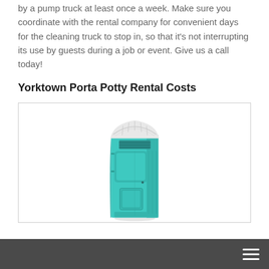by a pump truck at least once a week. Make sure you coordinate with the rental company for convenient days for the cleaning truck to stop in, so that it's not interrupting its use by guests during a job or event. Give us a call today!
Yorktown Porta Potty Rental Costs
[Figure (photo): A teal/turquoise portable toilet (porta potty) shown from a front-angle view, with a white ridged roof, dark ventilation vents near the top, and molded plastic panels forming the door and body.]
hamburger menu icon